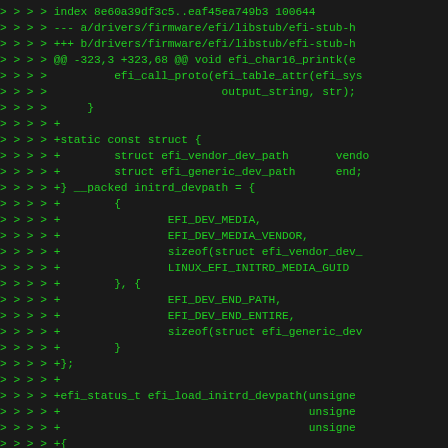[Figure (other): Git diff output showing kernel EFI stub code changes in green monospace text on dark background. Shows additions to drivers/firmware/efi/libstub/efi-stub including static const struct for initrd_devpath and efi_load_initrd_devpath function.]